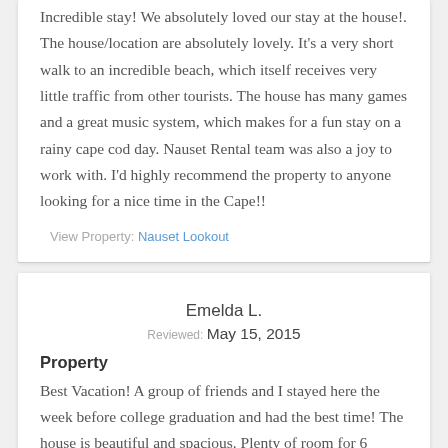Incredible stay! We absolutely loved our stay at the house!. The house/location are absolutely lovely. It's a very short walk to an incredible beach, which itself receives very little traffic from other tourists. The house has many games and a great music system, which makes for a fun stay on a rainy cape cod day. Nauset Rental team was also a joy to work with. I'd highly recommend the property to anyone looking for a nice time in the Cape!!
View Property: Nauset Lookout
Emelda L.
Reviewed: May 15, 2015
Property
Best Vacation! A group of friends and I stayed here the week before college graduation and had the best time! The house is beautiful and spacious. Plenty of room for 6...